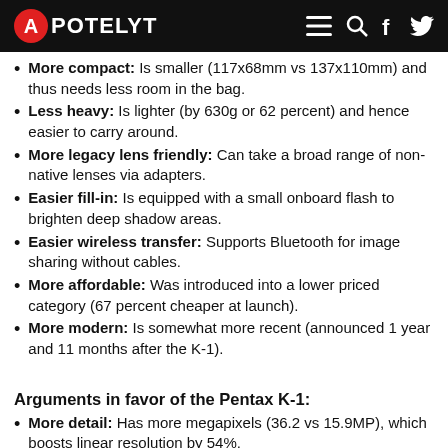APOTELYT
More compact: Is smaller (117x68mm vs 137x110mm) and thus needs less room in the bag.
Less heavy: Is lighter (by 630g or 62 percent) and hence easier to carry around.
More legacy lens friendly: Can take a broad range of non-native lenses via adapters.
Easier fill-in: Is equipped with a small onboard flash to brighten deep shadow areas.
Easier wireless transfer: Supports Bluetooth for image sharing without cables.
More affordable: Was introduced into a lower priced category (67 percent cheaper at launch).
More modern: Is somewhat more recent (announced 1 year and 11 months after the K-1).
Arguments in favor of the Pentax K-1:
More detail: Has more megapixels (36.2 vs 15.9MP), which boosts linear resolution by 54%.